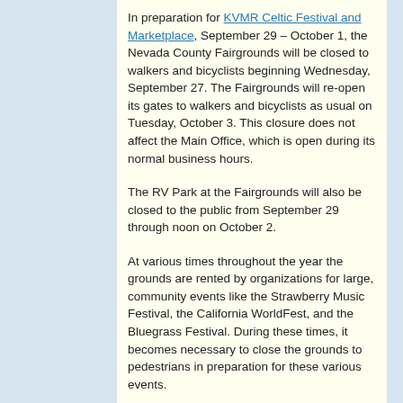In preparation for KVMR Celtic Festival and Marketplace, September 29 – October 1, the Nevada County Fairgrounds will be closed to walkers and bicyclists beginning Wednesday, September 27. The Fairgrounds will re-open its gates to walkers and bicyclists as usual on Tuesday, October 3. This closure does not affect the Main Office, which is open during its normal business hours.
The RV Park at the Fairgrounds will also be closed to the public from September 29 through noon on October 2.
At various times throughout the year the grounds are rented by organizations for large, community events like the Strawberry Music Festival, the California WorldFest, and the Bluegrass Festival. During these times, it becomes necessary to close the grounds to pedestrians in preparation for these various events.
If you are interested in attending the Celtic...